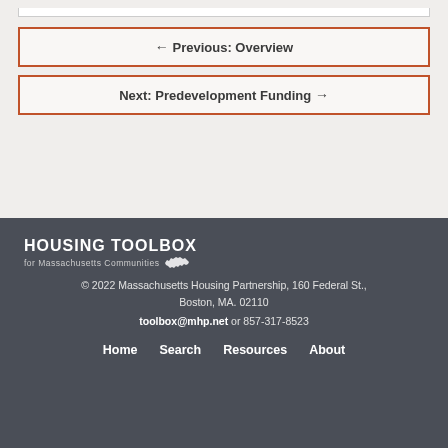← Previous: Overview
Next: Predevelopment Funding →
HOUSING TOOLBOX for Massachusetts Communities © 2022 Massachusetts Housing Partnership, 160 Federal St., Boston, MA. 02110 toolbox@mhp.net or 857-317-8523 Home Search Resources About